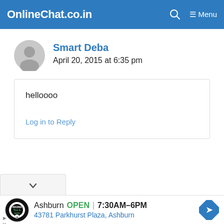OnlineChat.co.in  🔍  ≡ Menu
Smart Deba
April 20, 2015 at 6:35 pm
helloooo
Log in to Reply
[Figure (other): Dropdown chevron stub UI element]
[Figure (other): Advertisement banner: Tire & Auto logo, Ashburn OPEN 7:30AM-6PM, 43781 Parkhurst Plaza, Ashburn, with navigation arrow icon]